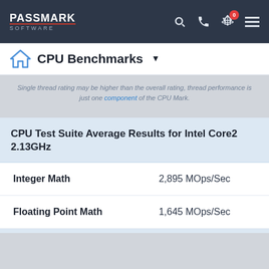PassMark Software
CPU Benchmarks
Single thread rating may be higher than the overall rating, thread performance is just one component of the CPU Mark.
CPU Test Suite Average Results for Intel Core2 2.13GHz
| Test | Result |
| --- | --- |
| Integer Math | 2,895 MOps/Sec |
| Floating Point Math | 1,645 MOps/Sec |